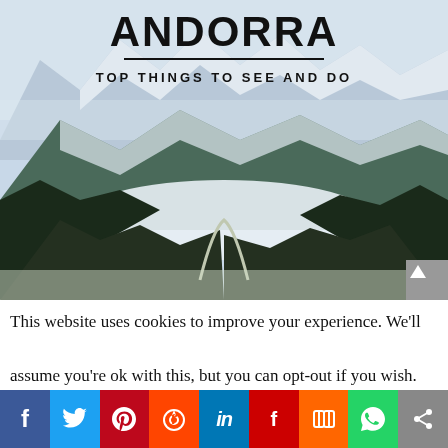[Figure (photo): Snow-covered mountain valley in Andorra with pine trees and misty peaks. Overlaid text reads ANDORRA in large bold letters, with a horizontal rule and subtitle TOP THINGS TO SEE AND DO]
This website uses cookies to improve your experience. We'll assume you're ok with this, but you can opt-out if you wish.
[Figure (infographic): Social media sharing bar with icons for Facebook, Twitter, Pinterest, Reddit, LinkedIn, Flipboard, Mix, WhatsApp, and a share icon]